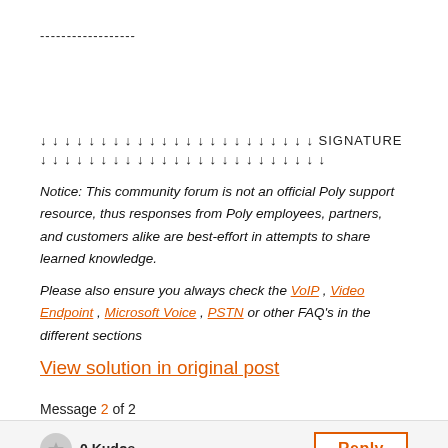------------------
↓ ↓ ↓ ↓ ↓ ↓ ↓ ↓ ↓ ↓ ↓ ↓ ↓ ↓ ↓ ↓ ↓ ↓ ↓ ↓ ↓ ↓ ↓ SIGNATURE
↓ ↓ ↓ ↓ ↓ ↓ ↓ ↓ ↓ ↓ ↓ ↓ ↓ ↓ ↓ ↓ ↓ ↓ ↓ ↓ ↓ ↓ ↓ ↓
Notice: This community forum is not an official Poly support resource, thus responses from Poly employees, partners, and customers alike are best-effort in attempts to share learned knowledge.
Please also ensure you always check the VoIP, Video Endpoint, Microsoft Voice, PSTN or other FAQ's in the different sections
View solution in original post
Message 2 of 2
0 Kudos
Reply